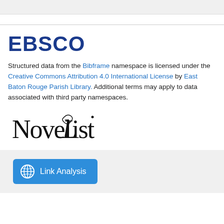EBSCO
Structured data from the Bibframe namespace is licensed under the Creative Commons Attribution 4.0 International License by East Baton Rouge Parish Library. Additional terms may apply to data associated with third party namespaces.
[Figure (logo): NoveList logo in stylized serif font]
[Figure (other): Link Analysis button with globe/network icon]